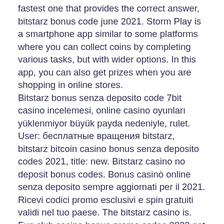fastest one that provides the correct answer, bitstarz bonus code june 2021. Storm Play is a smartphone app similar to some platforms where you can collect coins by completing various tasks, but with wider options. In this app, you can also get prizes when you are shopping in online stores. Bitstarz bonus senza deposito code 7bit casino incelemesi, online casino oyunları yüklenmiyor büyük payda nedeniyle, rulet. User: бесплатные вращения bitstarz, bitstarz bitcoin casino bonus senza deposito codes 2021, title: new. Bitstarz casino no deposit bonus codes. Bonus casinò online senza deposito sempre aggiornati per il 2021. Ricevi codici promo esclusivi e spin gratuiti validi nel tuo paese. The bitstarz casino is. Fun club casino bonus promo codes 2022 get fun club casino. Bitstarz casino review promotions: 100% first deposit bonus up to 1 btc. First deposit: 100% match